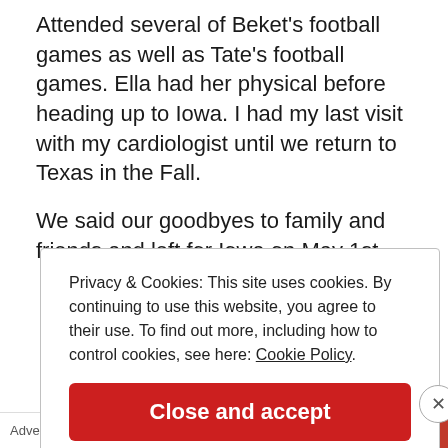Attended several of Beket's football games as well as Tate's football games. Ella had her physical before heading up to Iowa. I had my last visit with my cardiologist until we return to Texas in the Fall.
We said our goodbyes to family and friends and left for Iowa on May 1st.
Privacy & Cookies: This site uses cookies. By continuing to use this website, you agree to their use. To find out more, including how to control cookies, see here: Cookie Policy
Close and accept
Advertisements